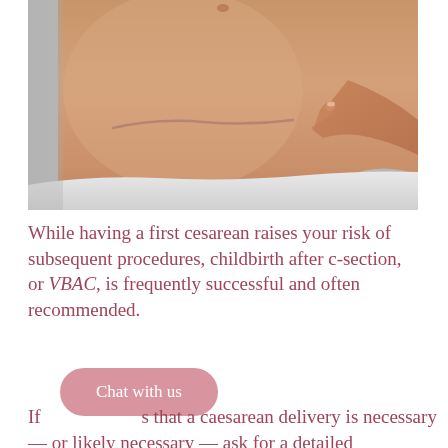[Figure (photo): Close-up photo of a woman's abdomen showing a cesarean section scar, with a finger pointing to the scar. The woman is wearing white underwear.]
While having a first cesarean raises your risk of subsequent procedures, childbirth after c-section, or VBAC, is frequently successful and often recommended.
Chat with us
If [Chat button overlaps text] s that a caesarean delivery is necessary — or likely necessary — ask for a detailed